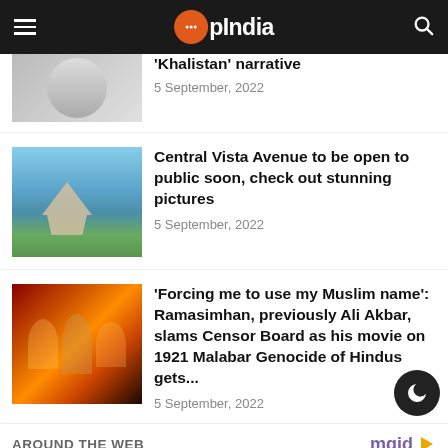OpIndia
'Khalistan' narrative
5 September, 2022
Central Vista Avenue to be open to public soon, check out stunning pictures
5 September, 2022
'Forcing me to use my Muslim name': Ramasimhan, previously Ali Akbar, slams Censor Board as his movie on 1921 Malabar Genocide of Hindus gets...
5 September, 2022
AROUND THE WEB
[Figure (photo): Bottom strip image, partially visible]